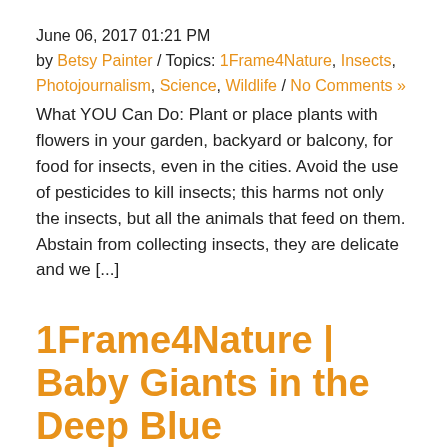June 06, 2017 01:21 PM
by Betsy Painter / Topics: 1Frame4Nature, Insects, Photojournalism, Science, Wildlife / No Comments »
What YOU Can Do: Plant or place plants with flowers in your garden, backyard or balcony, for food for insects, even in the cities. Avoid the use of pesticides to kill insects; this harms not only the insects, but all the animals that feed on them. Abstain from collecting insects, they are delicate and we [...]
1Frame4Nature | Baby Giants in the Deep Blue
May 05, 2017 02:12 PM
by Betsy Painter / Topics: 1Frame4Nature, Macro, Marine, People and Culture, Photojournalism, Science, Wildlife / No Comments »
What YOU Can Do: Eat sustainable seafood. Look for special terms like “line caught”, “diver caught”, “sustainably